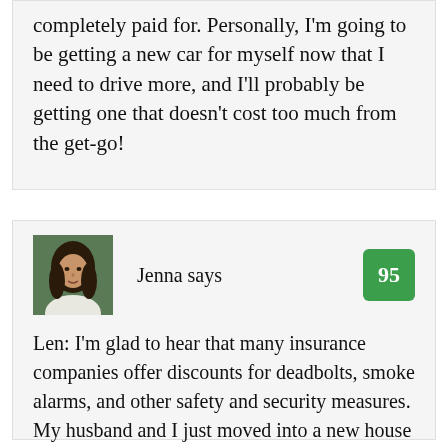completely paid for. Personally, I'm going to be getting a new car for myself now that I need to drive more, and I'll probably be getting one that doesn't cost too much from the get-go!
[Figure (photo): Portrait photo of a woman with dark hair wearing a white top]
Jenna says
95
Len: I'm glad to hear that many insurance companies offer discounts for deadbolts, smoke alarms, and other safety and security measures. My husband and I just moved into a new house and are looking for a good policy for homeowner's insurance. Will these same types of discounts be...